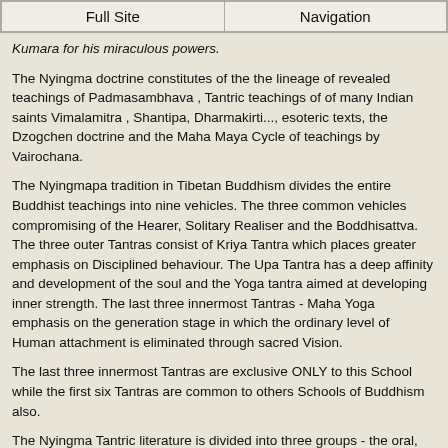Full Site | Navigation
Kumara for his miraculous powers.
The Nyingma doctrine constitutes of the the lineage of revealed teachings of Padmasambhava , Tantric teachings of of many Indian saints Vimalamitra , Shantipa, Dharmakirti..., esoteric texts, the Dzogchen doctrine and the Maha Maya Cycle of teachings by Vairochana.
The Nyingmapa tradition in Tibetan Buddhism divides the entire Buddhist teachings into nine vehicles. The three common vehicles compromising of the Hearer, Solitary Realiser and the Boddhisattva. The three outer Tantras consist of Kriya Tantra which places greater emphasis on Disciplined behaviour. The Upa Tantra has a deep affinity and development of the soul and the Yoga tantra aimed at developing inner strength. The last three innermost Tantras - Maha Yoga emphasis on the generation stage in which the ordinary level of Human attachment is eliminated through sacred Vision.
The last three innermost Tantras are exclusive ONLY to this School while the first six Tantras are common to others Schools of Buddhism also.
The Nyingma Tantric literature is divided into three groups - the oral, the treasures and visions. These are further divided into two main